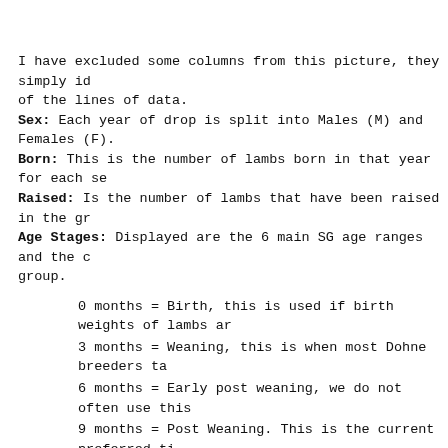I have excluded some columns from this picture, they simply id of the lines of data.
Sex: Each year of drop is split into Males (M) and Females (F).
Born: This is the number of lambs born in that year for each se
Raised: Is the number of lambs that have been raised in the gr
Age Stages: Displayed are the 6 main SG age ranges and the c group.
0 months = Birth, this is used if birth weights of lambs ar
3 months = Weaning, this is when most Dohne breeders ta
6 months = Early post weaning, we do not often use this
9 months = Post Weaning. This is the current preferred ti scanning.
12 months = Yearling, this is when Dohne breeders mostly
18+ months = Hogget and Adult measurements. Some lat into this stage.